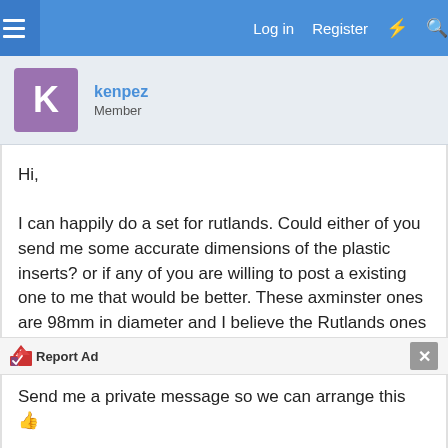Log in  Register
kenpez
Member
Hi,

I can happily do a set for rutlands. Could either of you send me some accurate dimensions of the plastic inserts? or if any of you are willing to post a existing one to me that would be better. These axminster ones are 98mm in diameter and I believe the Rutlands ones are 90mm.

Send me a private message so we can arrange this 👍
Report Ad